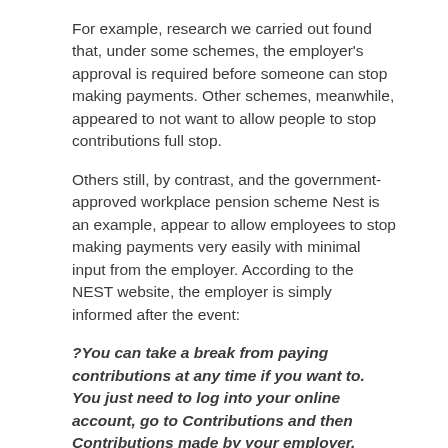For example, research we carried out found that, under some schemes, the employer's approval is required before someone can stop making payments. Other schemes, meanwhile, appeared to not want to allow people to stop contributions full stop.
Others still, by contrast, and the government-approved workplace pension scheme Nest is an example, appear to allow employees to stop making payments very easily with minimal input from the employer. According to the NEST website, the employer is simply informed after the event:
?You can take a break from paying contributions at any time if you want to. You just need to log into your online account, go to Contributions and then Contributions made by your employer. Then click on the button Stop contributions. Well let your employer know that you want to stop making contributions so that they can stop taking money from your pay.
There's no doubt that many business owners will want to know whether the scheme they are about to sign up